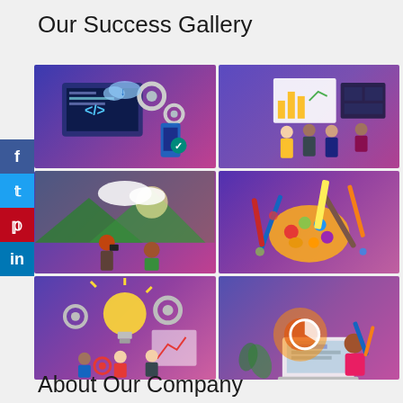Our Success Gallery
[Figure (illustration): Six-panel gallery grid showing illustrations: (1) web/app development with code screens and gears, (2) business analytics presentation with charts and people, (3) photography/nature scene with two people outdoors, (4) art and design tools including palette and brushes, (5) innovation/teamwork with lightbulb, gears, and people, (6) creative design work with woman at laptop]
About Our Company